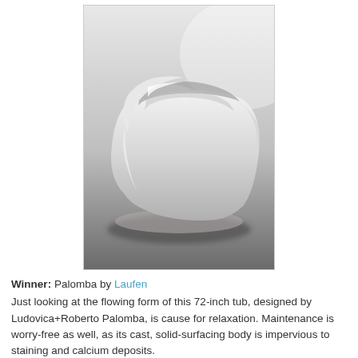[Figure (photo): A modern freestanding bathtub with flowing organic form, white in color, photographed on a dark reflective surface against a light background. The tub has sculpted curved sides with a wide open top.]
Winner: Palomba by Laufen
Just looking at the flowing form of this 72-inch tub, designed by Ludovica+Roberto Palomba, is cause for relaxation. Maintenance is worry-free as well, as its cast, solid-surfacing body is impervious to staining and calcium deposits.